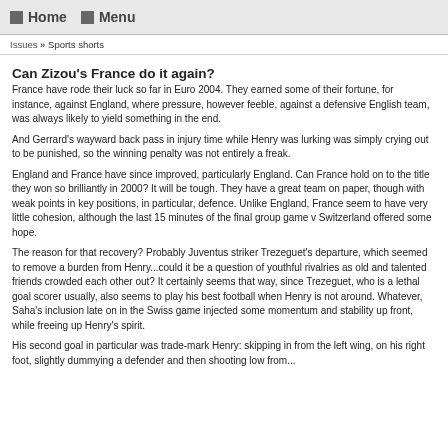Home   Menu
Issues » Sports shorts
Can Zizou's France do it again?
France have rode their luck so far in Euro 2004. They earned some of their fortune, for instance, against England, where pressure, however feeble, against a defensive English team, was always likely to yield something in the end.
And Gerrard's wayward back pass in injury time while Henry was lurking was simply crying out to be punished, so the winning penalty was not entirely a freak.
England and France have since improved, particularly England. Can France hold on to the title they won so brilliantly in 2000? It will be tough. They have a great team on paper, though with weak points in key positions, in particular, defence. Unlike England, France seem to have very little cohesion, although the last 15 minutes of the final group game v Switzerland offered some hope.
The reason for that recovery? Probably Juventus striker Trezeguet's departure, which seemed to remove a burden from Henry...could it be a question of youthful rivalries as old and talented friends crowded each other out? It certainly seems that way, since Trezeguet, who is a lethal goal scorer usually, also seems to play his best football when Henry is not around. Whatever, Saha's inclusion late on in the Swiss game injected some momentum and stability up front, while freeing up Henry's spirit.
His second goal in particular was trade-mark Henry: skipping in from the left wing, on his right foot, slightly dummying a defender and then shooting low from...